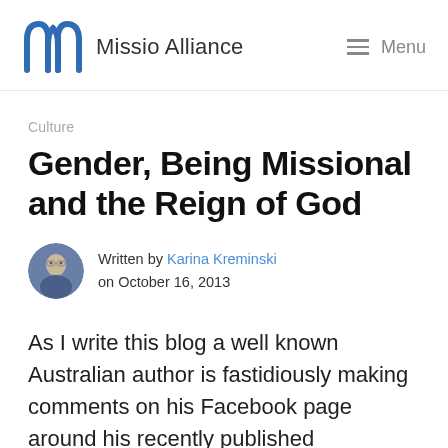Missio Alliance  Menu
Culture
Gender, Being Missional and the Reign of God
Written by Karina Kreminski on October 16, 2013
As I write this blog a well known Australian author is fastidiously making comments on his Facebook page around his recently published